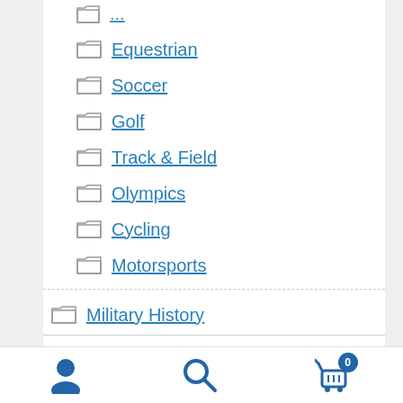Equestrian
Soccer
Golf
Track & Field
Olympics
Cycling
Motorsports
Military History
Literature
History